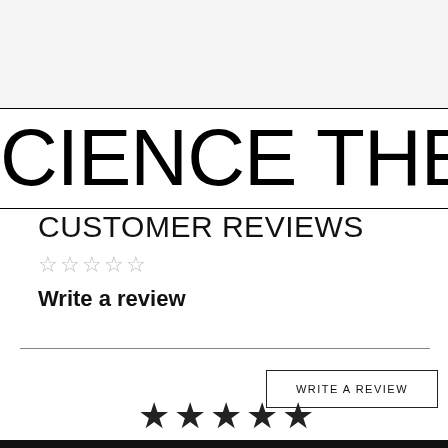CIENCE THE SCI
CUSTOMER REVIEWS
☆☆☆☆☆
Write a review
WRITE A REVIEW
★★★★★